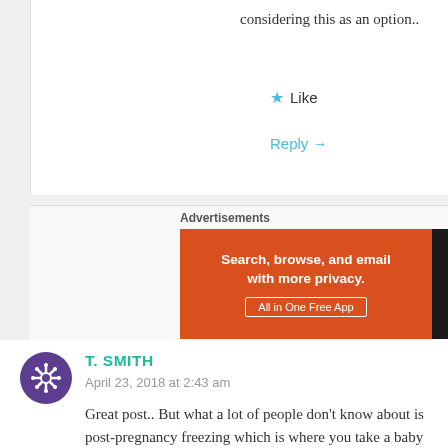considering this as an option..
★ Like
Reply →
Advertisements
[Figure (other): DuckDuckGo advertisement banner: orange left panel with text 'Search, browse, and email with more privacy. All in One Free App' and dark right panel with DuckDuckGo logo]
REPORT THIS AD
T. SMITH
April 23, 2018 at 2:43 am
Great post.. But what a lot of people don't know about is post-pregnancy freezing which is where you take a baby from 6 weeks old to up to 18 months old